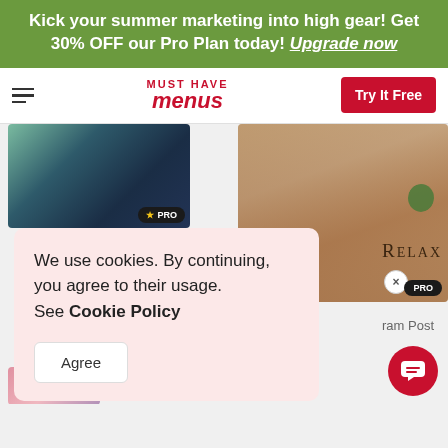Kick your summer marketing into high gear! Get 30% OFF our Pro Plan today! Upgrade now
[Figure (screenshot): Must Have Menus website navigation bar with hamburger menu, logo, and Try It Free button]
[Figure (screenshot): Spa Discount Facebook Story card with PRO badge]
Spa Discount Facebook Story
[Figure (photo): Spa/massage photo with RELAX text overlay and PRO badge with X close button]
ram Post
We use cookies. By continuing, you agree to their usage. See Cookie Policy
Agree